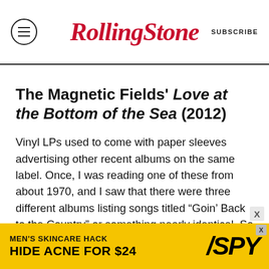Rolling Stone | SUBSCRIBE
The Magnetic Fields' Love at the Bottom of the Sea (2012)
Vinyl LPs used to come with paper sleeves advertising other recent albums on the same label. Once, I was reading one of these from about 1970, and I saw that there were three different albums listing songs titled “Goin’ Back to the Country” or something nearly identical. So maybe they were all doing the same song, but I think it was just in the air, after George Harrison’s purchase of the amazing Friar Park, his 120-room
[Figure (infographic): Advertisement banner: MEN'S SKINCARE HACK HIDE ACNE FOR $24 with SPY logo on yellow background]